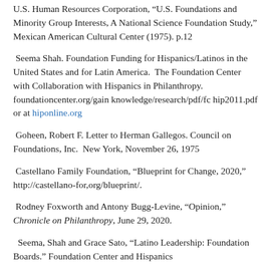U.S. Human Resources Corporation, "U.S. Foundations and Minority Group Interests, A National Science Foundation Study," Mexican American Cultural Center (1975). p.12
Seema Shah. Foundation Funding for Hispanics/Latinos in the United States and for Latin America. The Foundation Center with Collaboration with Hispanics in Philanthropy. foundationcenter.org/gain knowledge/research/pdf/fc hip2011.pdf or at hiponline.org
Goheen, Robert F. Letter to Herman Gallegos. Council on Foundations, Inc. New York, November 26, 1975
Castellano Family Foundation, “Blueprint for Change, 2020,” http://castellano-for,org/blueprint/.
Rodney Foxworth and Antony Bugg-Levine, “Opinion,” Chronicle on Philanthropy, June 29, 2020.
Seema, Shah and Grace Sato, “Latino Leadership: Foundation Boards.” Foundation Center and Hispanics